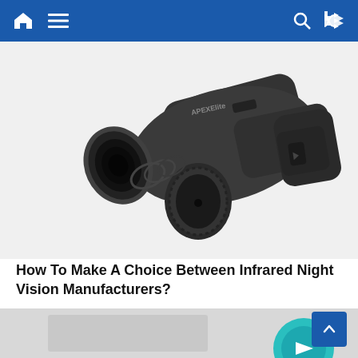Navigation bar with home, menu, search, and share icons
[Figure (photo): Close-up photo of a black digital night vision binocular/monocular device showing lens and focus knobs, set against a white background]
How To Make A Choice Between Infrared Night Vision Manufacturers?
April 4, 2021   Thalla
[Figure (screenshot): Partial preview of a website or infographic showing a teal/cyan circular logo element at the bottom of the page]